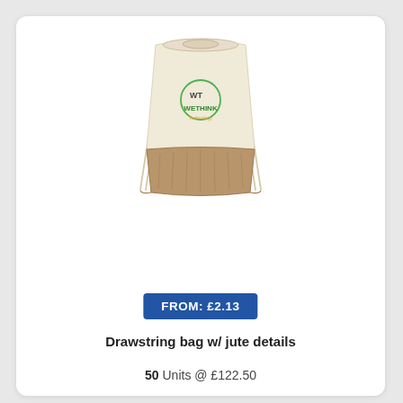[Figure (photo): A drawstring bag with cream/natural cotton upper section and brown jute lower section. The bag has a WeThink Technology logo printed on the front in green and yellow. Drawstrings visible at top corners.]
FROM: £2.13
Drawstring bag w/ jute details
50 Units @ £122.50